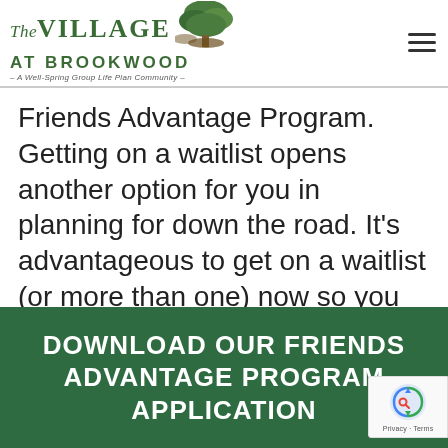The Village at Brookwood – A Well-Spring Group Life Plan Community
Friends Advantage Program. Getting on a waitlist opens another option for you in planning for down the road. It's advantageous to get on a waitlist (or more than one) now so you can secure your future.
DOWNLOAD OUR FRIENDS ADVANTAGE PROGRAM APPLICATION